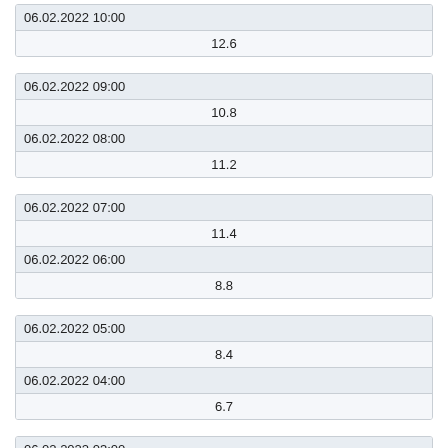| 06.02.2022 10:00 |
| 12.6 |
| 06.02.2022 09:00 |
| 10.8 |
| 06.02.2022 08:00 |
| 11.2 |
| 06.02.2022 07:00 |
| 11.4 |
| 06.02.2022 06:00 |
| 8.8 |
| 06.02.2022 05:00 |
| 8.4 |
| 06.02.2022 04:00 |
| 6.7 |
| 06.02.2022 03:00 |
| 7.2 |